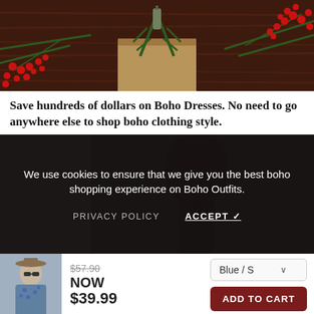[Figure (photo): Holiday-themed flat lay photo showing a brown kraft paper gift box with pine branches, holly with red berries, and what appears to be a small bottle/gift, all on a dark wood background]
Save hundreds of dollars on Boho Dresses. No need to go anywhere else to shop boho clothing style.
[Figure (screenshot): Cookie consent banner overlaid on a fashion photo background. Text reads: 'We use cookies to ensure that we give you the best boho shopping experience on Boho Outfits.' With PRIVACY POLICY and ACCEPT ✓ buttons.]
[Figure (photo): Small thumbnail of a woman wearing a blue patterned boho top and sunglasses with a hat]
$57.90
NOW
$39.99
Blue / S
ADD TO CART